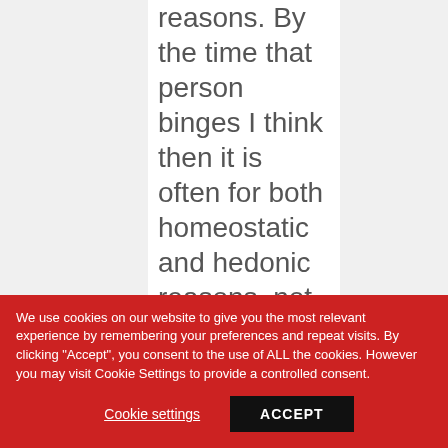reasons. By the time that person binges I think then it is often for both homeostatic and hedonic reasons, not neatly separated.
We use cookies on our website to give you the most relevant experience by remembering your preferences and repeat visits. By clicking "Accept", you consent to the use of ALL the cookies. However you may visit Cookie Settings to provide a controlled consent.
Cookie settings
ACCEPT